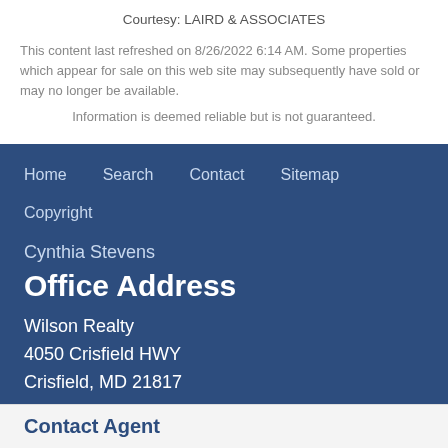Courtesy: LAIRD & ASSOCIATES
This content last refreshed on 8/26/2022 6:14 AM. Some properties which appear for sale on this web site may subsequently have sold or may no longer be available.
Information is deemed reliable but is not guaranteed.
Home   Search   Contact   Sitemap
Copyright
Cynthia Stevens
Office Address
Wilson Realty
4050 Crisfield HWY
Crisfield, MD 21817
Contact Agent